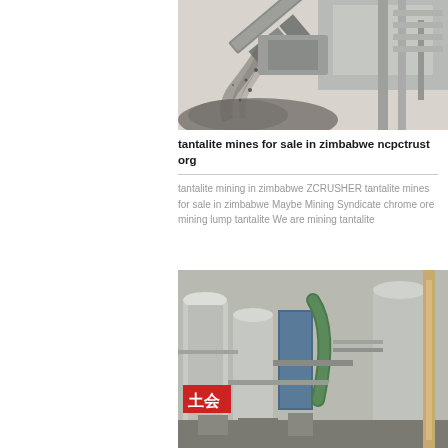[Figure (photo): Industrial mining screening/crushing equipment with rock/gravel material being processed, showing conveyor belt and large machine structure against a light background.]
tantalite mines for sale in zimbabwe ncpctrust org
tantalite mining in zimbabwe ZCRUSHER tantalite mines for sale in zimbabwe Maybe Mining Syndicate chrome ore mining lump tantalite We are mining tantalite
[Figure (photo): Industrial processing plant with multiple large cylindrical tanks/silos, pipes, and equipment. Chinese text visible on a sign reading 土会. A blue painted structure and green pipe visible among grey/silver industrial equipment.]